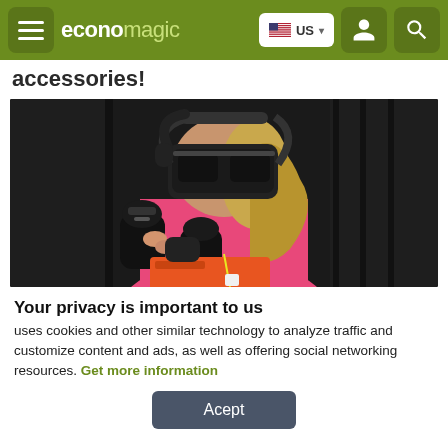economagic — US
accessories!
[Figure (photo): Person wearing a VR headset and holding VR controllers, dressed in a pink shirt, in a dark environment with industrial-looking walls]
Your privacy is important to us
uses cookies and other similar technology to analyze traffic and customize content and ads, as well as offering social networking resources. Get more information
Acept